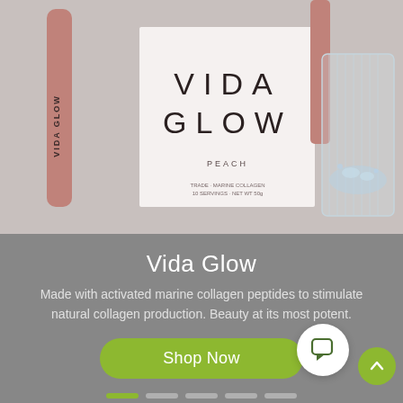[Figure (photo): Vida Glow branded product photo showing a pink/peach slim stick packet labeled 'VIDA GLOW', a white box with large text 'VIDA GLOW' and 'PEACH', and a clear glass with water, on a light gray background.]
Vida Glow
Made with activated marine collagen peptides to stimulate natural collagen production. Beauty at its most potent.
Shop Now